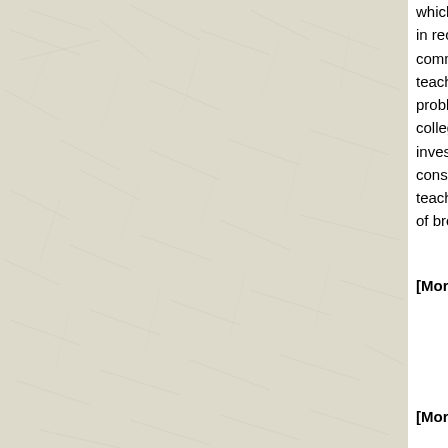which they performed. Opportunities have grown in recent decades; West African … common of these in the United S… teaching and learning processes… problem in music education. In th… collegiate steel band directors we… investigate the pedagogical prac… considerable consistencies and c… teaching strategies, repertoire se… of broadly applicable world musi…
[Morgan 1851] Lewis H. Morgan (1818–1… 477 pages. Reissued in [Morgan 190… edition of this reference) GS FP A

One citation: Flutopedia Revision…
[Morgan 1877] Lewis H. Morgan. Ancient… [Morgan 1944]. GS FP APA Chi …
[Morgan 1901] Lewis H. Morgan. League… 1901. Reissue of [Morgan 1851] PDF…

One citation: Flutopedia Revision…